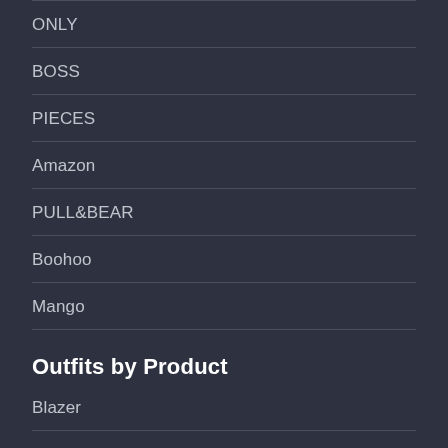ONLY
BOSS
PIECES
Amazon
PULL&BEAR
Boohoo
Mango
Outfits by Product
Blazer
Blouse
Blouse Dress